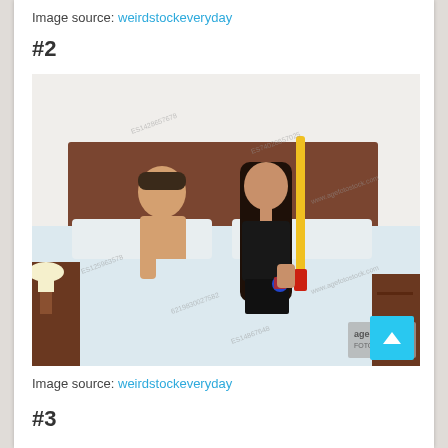Image source: weirdstockeveryday
#2
[Figure (photo): A man and woman sitting on a bed. The woman holds a yellow baseball bat and small colorful object. The man sits shirtless under white sheets looking surprised. Watermarked stock photo from agefotostock.]
Image source: weirdstockeveryday
#3